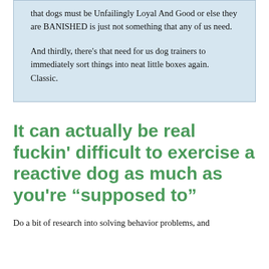that dogs must be Unfailingly Loyal And Good or else they are BANISHED is just not something that any of us need.

And thirdly, there's that need for us dog trainers to immediately sort things into neat little boxes again. Classic.
It can actually be real fuckin' difficult to exercise a reactive dog as much as you're "supposed to"
Do a bit of research into solving behavior problems, and